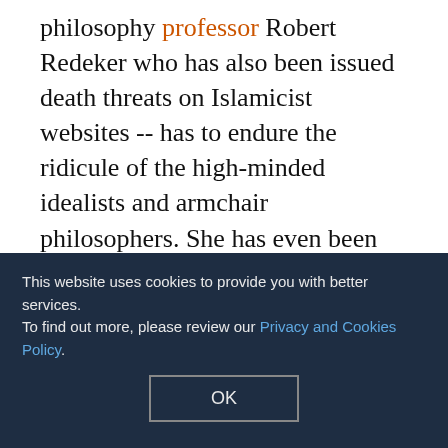philosophy professor Robert Redeker who has also been issued death threats on Islamicist websites -- has to endure the ridicule of the high-minded idealists and armchair philosophers. She has even been called a Nazi in the Netherlands. Thus the defenders of liberty are styled as fascists, while the fanatics are portrayed as victims! ... It is her wilful, short-fused, enthusiastic, impervious side to which Ian Buruma and Timothy Garton Ash object, in the spirit of the inquisitors who saw devil-possessed witches in every woman too flamboyant for their tastes".
This website uses cookies to provide you with better services. To find out more, please review our Privacy and Cookies Policy.
"Submission", written by Hirsi Ali, and which cost the life of the Dutch filmmaker, Theo van Gogh, to the Nazi propaganda film, "The Eternal Jew". According to Mak's "logic", Hirsi Ali "eliminates" Muslims, as Israel...